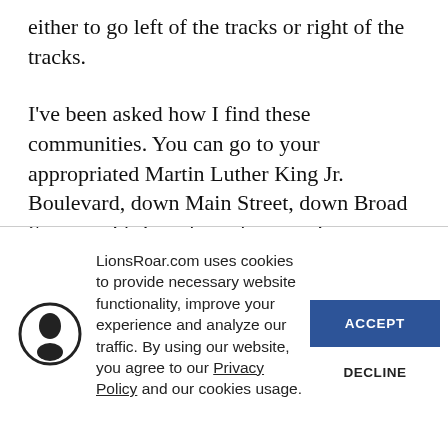either to go left of the tracks or right of the tracks.
I've been asked how I find these communities. You can go to your appropriated Martin Luther King Jr. Boulevard, down Main Street, down Broad Street — it's just about the same in every American city that you visit. It's not hard to find.
LionsRoar.com uses cookies to provide necessary website functionality, improve your experience and analyze our traffic. By using our website, you agree to our Privacy Policy and our cookies usage.
ACCEPT
DECLINE